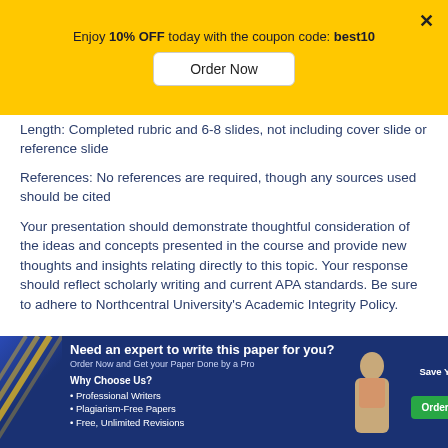[Figure (infographic): Yellow promotional banner with text 'Enjoy 10% OFF today with the coupon code: best10', an 'Order Now' button, and a close (×) button.]
Length: Completed rubric and 6-8 slides, not including cover slide or reference slide
References: No references are required, though any sources used should be cited
Your presentation should demonstrate thoughtful consideration of the ideas and concepts presented in the course and provide new thoughts and insights relating directly to this topic. Your response should reflect scholarly writing and current APA standards. Be sure to adhere to Northcentral University's Academic Integrity Policy.
[Figure (infographic): Blue advertisement banner: 'Need an expert to write this paper for you? Order Now and Get your Paper Done by a Pro'. Why Choose Us? • Professional Writers • Plagiarism-Free Papers • Free, Unlimited Revisions. Save Your Time. Score Better. Order Custom Paper button.]